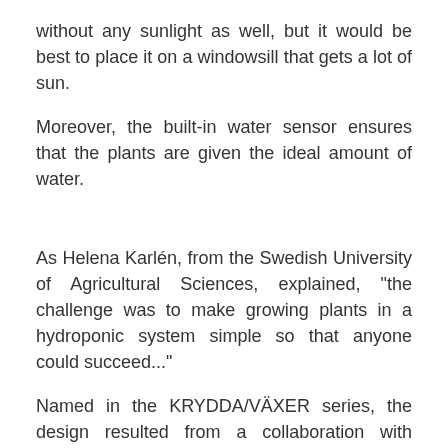without any sunlight as well, but it would be best to place it on a windowsill that gets a lot of sun.
Moreover, the built-in water sensor ensures that the plants are given the ideal amount of water.
As Helena Karlén, from the Swedish University of Agricultural Sciences, explained, “the challenge was to make growing plants in a hydroponic system simple so that anyone could succeed...”
Named in the KRYDDA/VÄXER series, the design resulted from a collaboration with agricultural scientists in Sweden, and it was aimed to be used by people who live in apartments or don’t have a garden, as well as those who want completely fresh produce even during the winter.